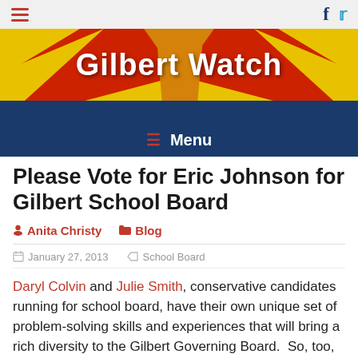Gilbert Watch — top navigation bar with hamburger menu, Facebook and Twitter icons
[Figure (illustration): Gilbert Watch website banner with Arizona state flag sunburst design in red, yellow and gold with white bold text 'Gilbert Watch']
≡ Menu
Please Vote for Eric Johnson for Gilbert School Board
Anita Christy   Blog
January 27, 2013   School Board
Daryl Colvin and Julie Smith, conservative candidates running for school board, have their own unique set of problem-solving skills and experiences that will bring a rich diversity to the Gilbert Governing Board.  So, too, does Eric Johnson.  Not only did Eric participate and contribute to the